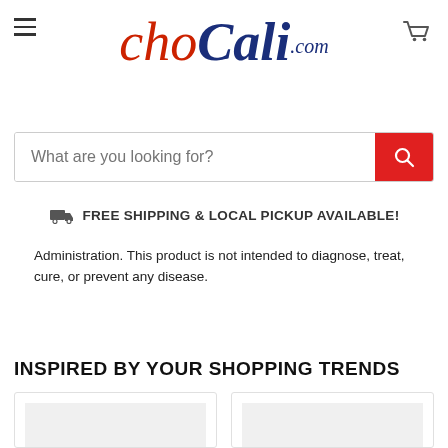[Figure (logo): ChoCali.com logo with 'cho' in red italic and 'Cali' in dark blue italic script, '.com' in smaller blue italic text]
What are you looking for?
FREE SHIPPING & LOCAL PICKUP AVAILABLE!
Administration. This product is not intended to diagnose, treat, cure, or prevent any disease.
INSPIRED BY YOUR SHOPPING TRENDS
[Figure (photo): Product image placeholder (left)]
[Figure (photo): Product image placeholder (right)]